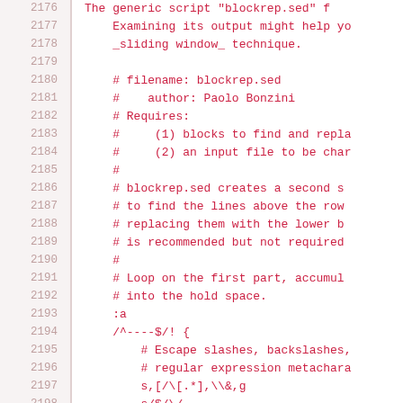Code listing lines 2176-2200, showing sed script content with line numbers and source code comments
2176: The generic script "blockrep.sed" f
2177:     Examining its output might help you
2178:     _sliding window_ technique.
2179:
2180:     # filename: blockrep.sed
2181:     #    author: Paolo Bonzini
2182:     # Requires:
2183:     #     (1) blocks to find and repla
2184:     #     (2) an input file to be char
2185:     #
2186:     # blockrep.sed creates a second s
2187:     # to find the lines above the row
2188:     # replacing them with the lower b
2189:     # is recommended but not required
2190:     #
2191:     # Loop on the first part, accumul
2192:     # into the hold space.
2193:     :a
2194:     /^----$/! {
2195:         # Escape slashes, backslashes,
2196:         # regular expression metachara
2197:         s,[/\[.*],\\&,g
2198:         s/$/\/
2199:         H
2200:         #